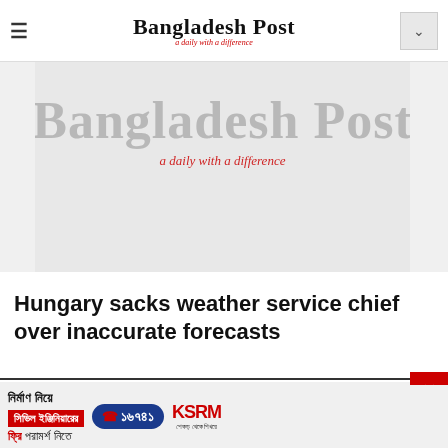Bangladesh Post — a daily with a difference
[Figure (logo): Bangladesh Post newspaper logo — large blackletter title 'Bangladesh Post' with red italic subtitle 'a daily with a difference' on grey background]
Hungary sacks weather service chief over inaccurate forecasts
[Figure (photo): Advertisement banner for KSRM civil engineering consultation service with Bengali text, phone number 16741, and KSRM logo]